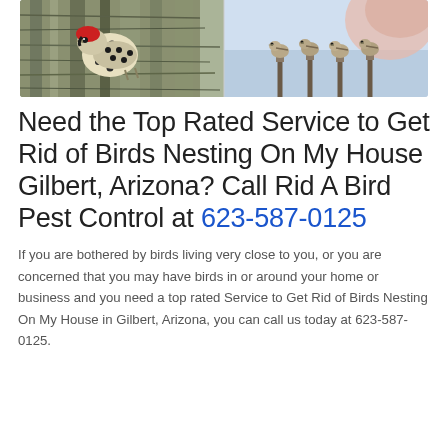[Figure (photo): Photo collage: left half shows a woodpecker on a tree trunk with mottled brown/grey bark; right half shows several small birds (sparrows) perched on posts against a blue sky background.]
Need the Top Rated Service to Get Rid of Birds Nesting On My House Gilbert, Arizona? Call Rid A Bird Pest Control at 623-587-0125
If you are bothered by birds living very close to you, or you are concerned that you may have birds in or around your home or business and you need a top rated Service to Get Rid of Birds Nesting On My House in Gilbert, Arizona, you can call us today at 623-587-0125.